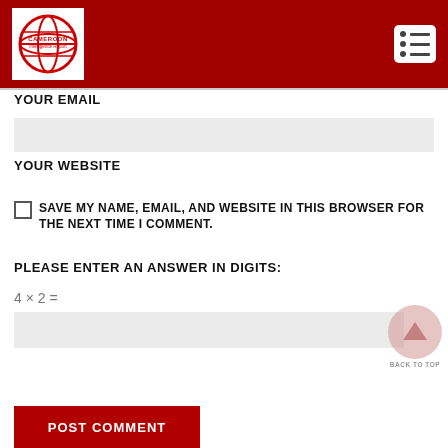[Figure (logo): Cameroon Intelligence Report logo — globe icon in red on white background, with text CAMEROON Intelligence Report]
YOUR EMAIL
YOUR WEBSITE
SAVE MY NAME, EMAIL, AND WEBSITE IN THIS BROWSER FOR THE NEXT TIME I COMMENT.
PLEASE ENTER AN ANSWER IN DIGITS:
BACK TO TOP
POST COMMENT